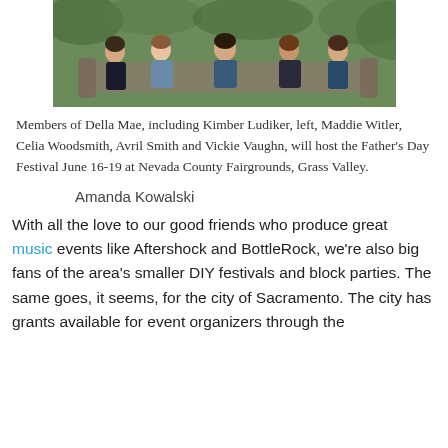[Figure (photo): Group photo of members of Della Mae sitting on a couch outdoors among green foliage]
Members of Della Mae, including Kimber Ludiker, left, Maddie Witler, Celia Woodsmith, Avril Smith and Vickie Vaughn, will host the Father's Day Festival June 16-19 at Nevada County Fairgrounds, Grass Valley.
Amanda Kowalski
With all the love to our good friends who produce great music events like Aftershock and BottleRock, we're also big fans of the area's smaller DIY festivals and block parties. The same goes, it seems, for the city of Sacramento. The city has grants available for event organizers through the